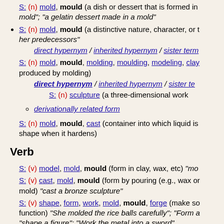S: (n) mold, mould (a dish or dessert that is formed in a mold); "a gelatin dessert made in a mold"
S: (n) mold, mould (a distinctive nature, character, or type) her predecessors"
direct hypernym / inherited hypernym / sister term
S: (n) mold, mould, molding, moulding, modeling, clay (produced by molding)
direct hypernym / inherited hypernym / sister te
S: (n) sculpture (a three-dimensional work)
derivationally related form
S: (n) mold, mould, cast (container into which liquid is poured) shape when it hardens)
Verb
S: (v) model, mold, mould (form in clay, wax, etc) "mo
S: (v) cast, mold, mould (form by pouring (e.g., wax or mold) "cast a bronze sculpture"
S: (v) shape, form, work, mold, mould, forge (make so function) "She molded the rice balls carefully"; "Form a figure"; "Work the metal into a sword"